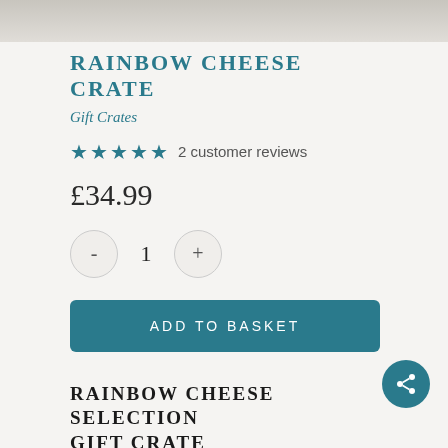[Figure (photo): Top portion of a product image strip, partially visible at the top of the page]
RAINBOW CHEESE CRATE
Gift Crates
★★★★★ 2 customer reviews
£34.99
- 1 +
ADD TO BASKET
RAINBOW CHEESE SELECTION GIFT CRATE